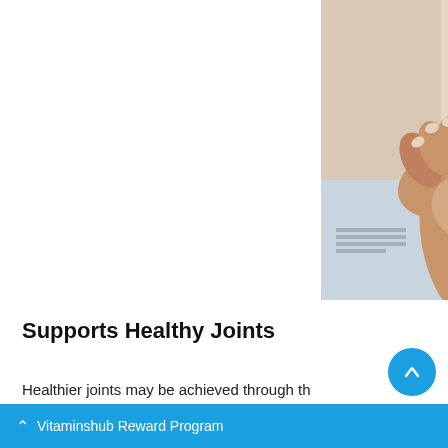[Figure (photo): Close-up photograph of a person's hands cupping/holding their knee joint, suggesting joint pain or care. Skin tones visible against a light background.]
Supports Healthy Joints
Healthier joints may be achieved through th Amazing Formulas...
Vitaminshub Reward Program